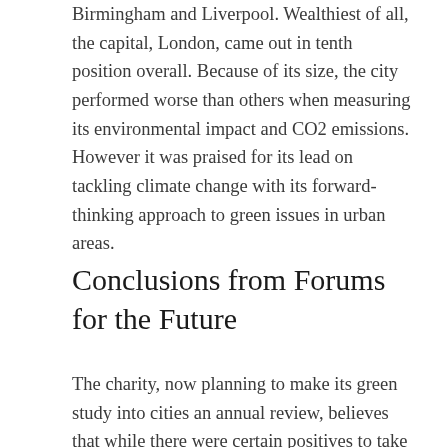Birmingham and Liverpool. Wealthiest of all, the capital, London, came out in tenth position overall. Because of its size, the city performed worse than others when measuring its environmental impact and CO2 emissions. However it was praised for its lead on tackling climate change with its forward-thinking approach to green issues in urban areas.
Conclusions from Forums for the Future
The charity, now planning to make its green study into cities an annual review, believes that while there were certain positives to take from the study, and some good practices taking place in some of